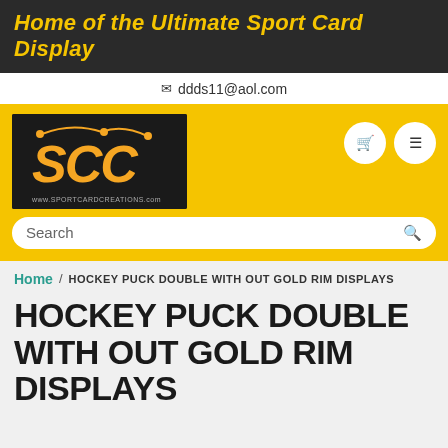Home of the Ultimate Sport Card Display
ddds11@aol.com
[Figure (logo): SCC Sport Card Creations logo on black background with yellow lettering and www.sportcardcreations.com]
Search
Home / HOCKEY PUCK DOUBLE WITH OUT GOLD RIM DISPLAYS
HOCKEY PUCK DOUBLE WITH OUT GOLD RIM DISPLAYS